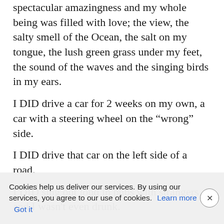spectacular amazingness and my whole being was filled with love; the view, the salty smell of the Ocean, the salt on my tongue, the lush green grass under my feet, the sound of the waves and the singing birds in my ears.
I DID drive a car for 2 weeks on my own, a car with a steering wheel on the “wrong” side.
I DID drive that car on the left side of a road.
I DID sing out loud in pubs with strangers, and I wasn't even drunk.
And again it terrified me.
Everyday.
Less and less though.
And by the end of that trip, I knew I could do anything on my own. I knew I could be anything on my own. I could have anything on my own.
I am not sure I would have used that word in 2018 but did feel it: empowerment.
Cookies help us deliver our services. By using our services, you agree to our use of cookies. Learn more Got it